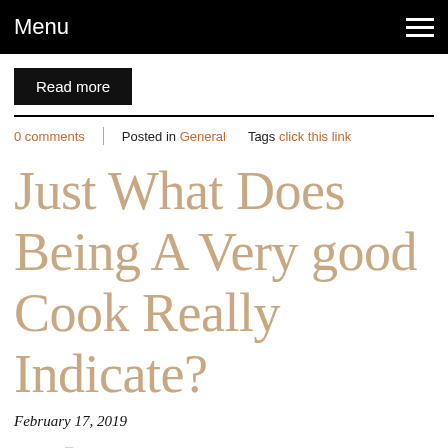Menu
Read more
0 comments   Posted in General   Tags click this link
Just What Does Being A Very good Cook Really Indicate?
February 17, 2019
What Does Becoming A